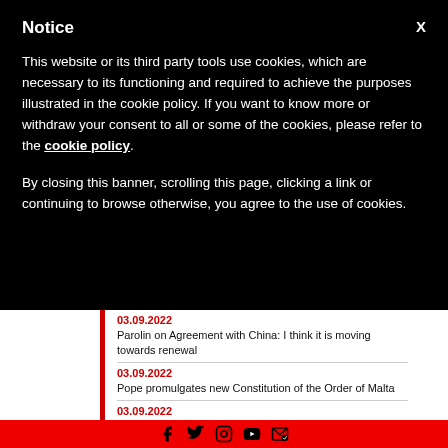Notice
This website or its third party tools use cookies, which are necessary to its functioning and required to achieve the purposes illustrated in the cookie policy. If you want to know more or withdraw your consent to all or some of the cookies, please refer to the cookie policy.
By closing this banner, scrolling this page, clicking a link or continuing to browse otherwise, you agree to the use of cookies.
03.09.2022
Parolin on Agreement with China: I think it is moving towards renewal
03.09.2022
Pope promulgates new Constitution of the Order of Malta
03.09.2022
Pope John Paul I: "A servant" for the people
[Figure (infographic): Social media icons: Facebook, Twitter, Instagram, YouTube, and email newsletter]